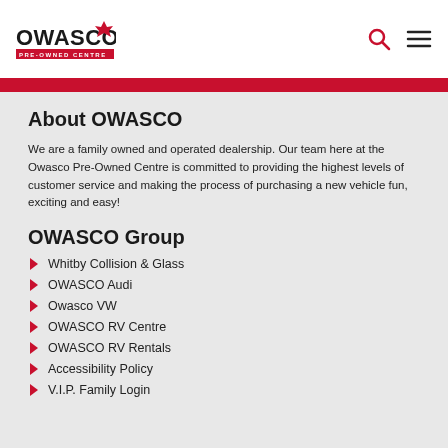OWASCO PRE-OWNED CENTRE
About OWASCO
We are a family owned and operated dealership. Our team here at the Owasco Pre-Owned Centre is committed to providing the highest levels of customer service and making the process of purchasing a new vehicle fun, exciting and easy!
OWASCO Group
Whitby Collision & Glass
OWASCO Audi
Owasco VW
OWASCO RV Centre
OWASCO RV Rentals
Accessibility Policy
V.I.P. Family Login